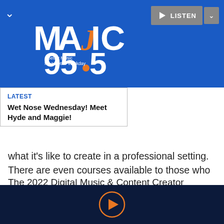[Figure (logo): Majic 95.5 radio station logo with 'Better Music for a Better Workday' tagline on blue header bar with Listen button]
LATEST
Wet Nose Wednesday! Meet Hyde and Maggie!
what it's like to create in a professional setting. There are even courses available to those who are more interested in the business side of music and video creation, like music distribution, marketing, and so much more.
The 2022 Digital Music & Content Creator Bundle
[Figure (other): Play button circle icon in orange on dark navy background]